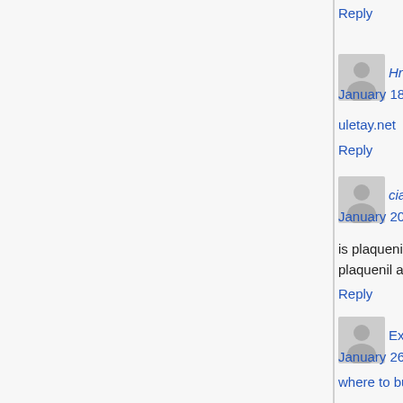Reply
Hr33owardtug says:
January 18, 2022 at 11:46 pm
uletay.net
Reply
cialis free sample says:
January 20, 2022 at 2:06 am
is plaquenil chloroquine plaquenil cost without insurance does plaquenil affect the eyes
Reply
Exhichvjco says:
January 26, 2022 at 5:47 pm
where to buy tadalafil on line best price usa tadalafil
Reply
zanaflex 4mg says: